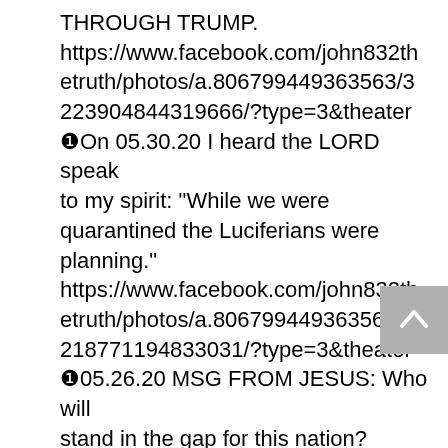THROUGH TRUMP. https://www.facebook.com/john832thetruth/photos/a.806799449363563/3223904844319666/?type=3&theater ❶On 05.30.20 I heard the LORD speak to my spirit: "While we were quarantined the Luciferians were planning." https://www.facebook.com/john832thetruth/photos/a.806799449363563/3218771194833031/?type=3&theater ❶05.26.20 MSG FROM JESUS: Who will stand in the gap for this nation? Many are called few are chosen. https://www.facebook.com/john832thetruth/photos/a.806799449363563/3209067235803427/?type=3&theater ❶04.30.20 MSG FROM JESUS: MLK HAD A MOSES CALLING BUT HE DIDN'T